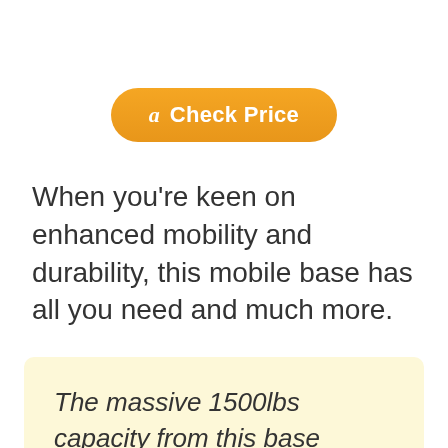[Figure (other): Orange rounded button with Amazon 'a' logo and text 'Check Price']
When you’re keen on enhanced mobility and durability, this mobile base has all you need and much more.
The massive 1500lbs capacity from this base makes the most of moving heavy stuff around.